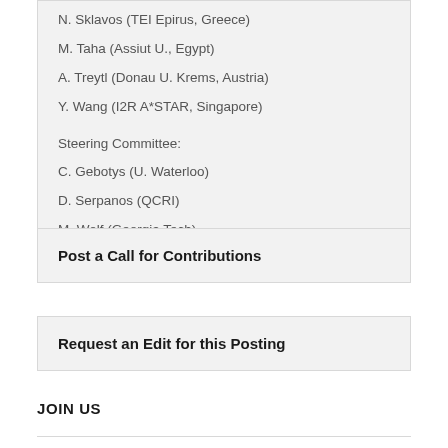N. Sklavos (TEI Epirus, Greece)
M. Taha (Assiut U., Egypt)
A. Treytl (Donau U. Krems, Austria)
Y. Wang (I2R A*STAR, Singapore)
Steering Committee:
C. Gebotys (U. Waterloo)
D. Serpanos (QCRI)
M. Wolf (Georgia Tech)
Post a Call for Contributions
Request an Edit for this Posting
JOIN US